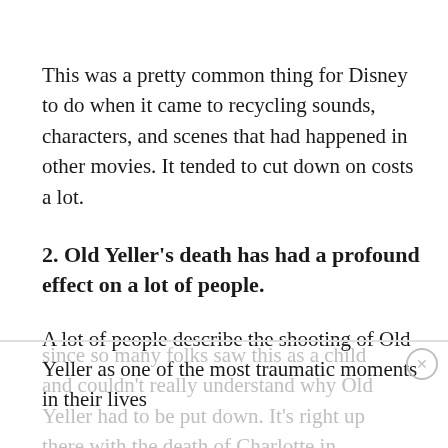This was a pretty common thing for Disney to do when it came to recycling sounds, characters, and scenes that had happened in other movies. It tended to cut down on costs a lot.
2. Old Yeller's death has had a profound effect on a lot of people.
A lot of people describe the shooting of Old Yeller as one of the most traumatic moments in their lives since so many folks saw this as a child and couldn't really understand why Old Yeller had to be put down. It's right up there with the death of Charlotte in Charlotte's Web and the shooting of